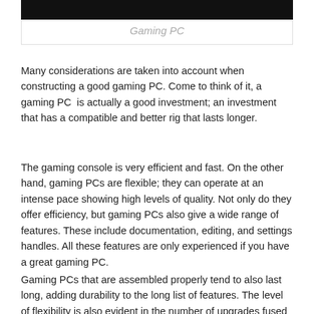[Figure (photo): Dark image strip at top of page, appears to be a partial photo of a person or scene]
Gaming PC
Many considerations are taken into account when constructing a good gaming PC. Come to think of it, a gaming PC  is actually a good investment; an investment that has a compatible and better rig that lasts longer.
The gaming console is very efficient and fast. On the other hand, gaming PCs are flexible; they can operate at an intense pace showing high levels of quality. Not only do they offer efficiency, but gaming PCs also give a wide range of features. These include documentation, editing, and settings handles. All these features are only experienced if you have a great gaming PC.
Gaming PCs that are assembled properly tend to also last long, adding durability to the long list of features. The level of flexibility is also evident in the number of upgrades fused in PCs. In fact, you are able to add new and fresh versions regularly, thereby pushing forward the lifespan of the PC.